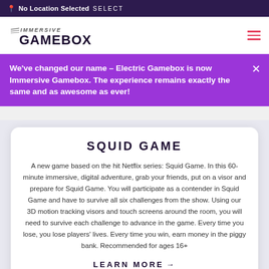No Location Selected SELECT
[Figure (logo): Immersive Gamebox logo with speed lines and bold text]
We've changed our name – Electric Gamebox is now Immersive Gamebox. The experience remains exactly the same and as awesome as ever!
SQUID GAME
A new game based on the hit Netflix series: Squid Game. In this 60-minute immersive, digital adventure, grab your friends, put on a visor and prepare for Squid Game. You will participate as a contender in Squid Game and have to survive all six challenges from the show. Using our 3D motion tracking visors and touch screens around the room, you will need to survive each challenge to advance in the game. Every time you lose, you lose players' lives. Every time you win, earn money in the piggy bank. Recommended for ages 16+
LEARN MORE →